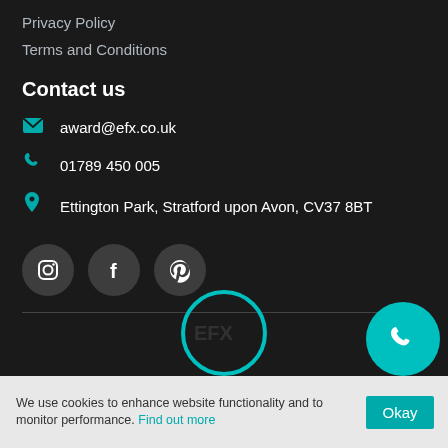Privacy Policy
Terms and Conditions
Contact us
award@efx.co.uk
01789 450 005
Ettington Park, Stratford upon Avon, CV37 8BT
[Figure (other): Social media icons: Instagram, Facebook, Pinterest on dark circular backgrounds]
[Figure (other): Teal circular logo outline at bottom center and teal filled circle with phone icon at bottom right]
We use cookies to enhance website functionality and to monitor performance. Find out more